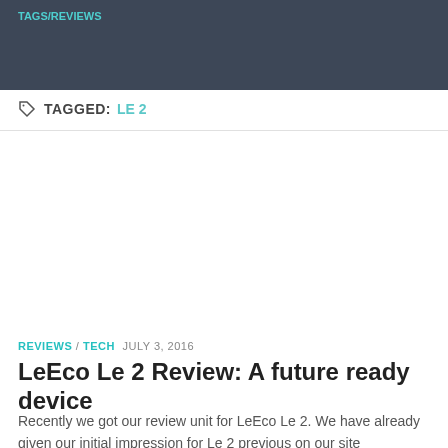TAGS/REVIEWS
TAGGED: LE 2
REVIEWS / TECH JULY 3, 2016
LeEco Le 2 Review: A future ready device
Recently we got our review unit for LeEco Le 2. We have already given our initial impression for Le 2 previous on our site